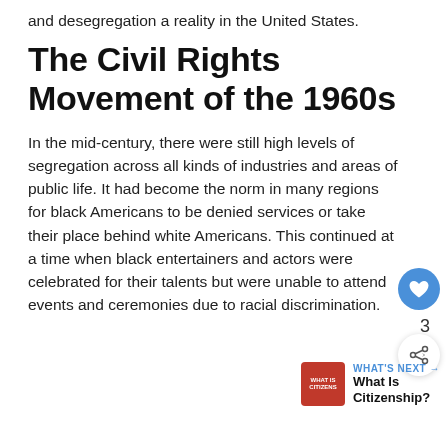and desegregation a reality in the United States.
The Civil Rights Movement of the 1960s
In the mid-century, there were still high levels of segregation across all kinds of industries and areas of public life. It had become the norm in many regions for black Americans to be denied services or take their place behind white Americans. This continued at a time when black entertainers and actors were celebrated for their talents but were unable to attend events and ceremonies due to racial discrimination.